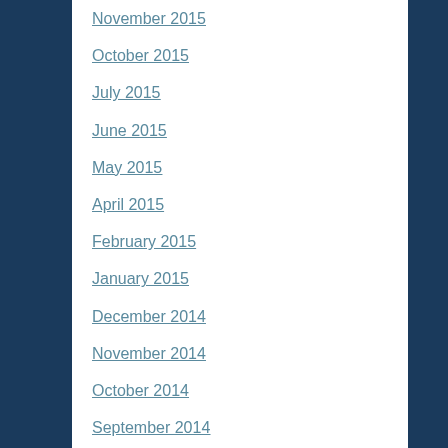November 2015
October 2015
July 2015
June 2015
May 2015
April 2015
February 2015
January 2015
December 2014
November 2014
October 2014
September 2014
August 2014
July 2014
June 2014
May 2014
April 2014